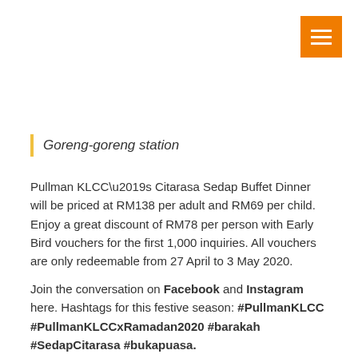[Figure (other): Orange hamburger menu button in top-right corner]
Goreng-goreng station
Pullman KLCC’s Citarasa Sedap Buffet Dinner will be priced at RM138 per adult and RM69 per child. Enjoy a great discount of RM78 per person with Early Bird vouchers for the first 1,000 inquiries. All vouchers are only redeemable from 27 April to 3 May 2020.
Join the conversation on Facebook and Instagram here. Hashtags for this festive season: #PullmanKLCC #PullmanKLCCxRamadan2020 #barakah #SedapCitarasa #bukapuasa.